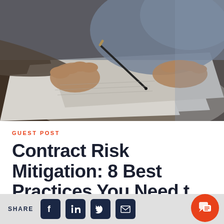[Figure (photo): Close-up photo of a person's hands signing or writing on white papers on a dark desk, with a pen held in the right hand.]
GUEST POST
Contract Risk Mitigation: 8 Best Practices You Need t…
SHARE [Facebook] [LinkedIn] [Twitter] [Email]